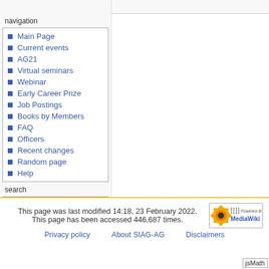navigation
Main Page
Current events
AG21
Virtual seminars
Webinar
Early Career Prize
Job Postings
Books by Members
FAQ
Officers
Recent changes
Random page
Help
search
This page was last modified 14:18, 23 February 2022. This page has been accessed 446,687 times. Privacy policy   About SIAG-AG   Disclaimers